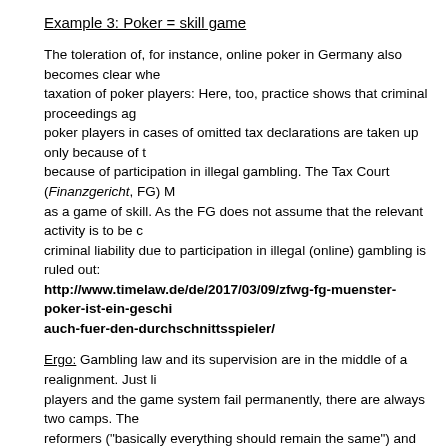Example 3: Poker = skill game
The toleration of, for instance, online poker in Germany also becomes clear when taxation of poker players: Here, too, practice shows that criminal proceedings ag poker players in cases of omitted tax declarations are taken up only because of t because of participation in illegal gambling. The Tax Court (Finanzgericht, FG) M as a game of skill. As the FG does not assume that the relevant activity is to be c criminal liability due to participation in illegal (online) gambling is ruled out:
http://www.timelaw.de/de/2017/03/09/zfwg-fg-muenster-poker-ist-ein-geschi auch-fuer-den-durchschnittsspieler/
Ergo: Gambling law and its supervision are in the middle of a realignment. Just li players and the game system fail permanently, there are always two camps. The reformers ("basically everything should remain the same") and the camp of the h ("everything must be rethought and for this we need new concepts").
In fact, a complete system change has to be made here in order to find the way b success of "effective governmental control of a market-oriented range of products:
The honest reformer trio Klinsmann/Löw/Bierhoff undertook a fundamental refor which reached down to its roots and brought Germany out of the football doldrum into world champions with Löw and Bierhoff. The governing coalition in Hesse ha system errors in German gambling law and is calling for an honest reform that go gambling regulation:
The Hessian state parliament takes note of the fact that the Schleswig-Holstein p 22 September 2017 not to ratify the Second Amending Inter-State Treaty on Gam GlüÄndStV) and that the North Rhine-Westphalian state government subsequen